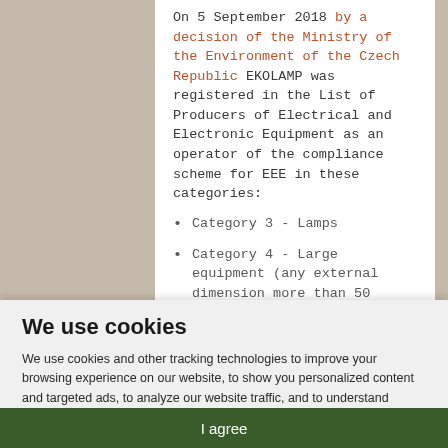On 5 September 2018 by a decision of the Ministry of the Environment of the Czech Republic EKOLAMP was registered in the List of Producers of Electrical and Electronic Equipment as an operator of the compliance scheme for EEE in these categories:
Category 3 - Lamps
Category 4 - Large equipment (any external dimension more than 50
We use cookies
We use cookies and other tracking technologies to improve your browsing experience on our website, to show you personalized content and targeted ads, to analyze our website traffic, and to understand where our visitors are coming from.
I agree